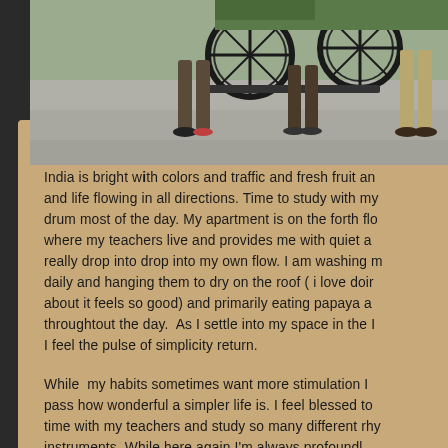[Figure (photo): Street scene photo showing people's legs and feet near a large wheeled cart or carriage on a paved surface. Partial view cropped at top, showing lower halves of people standing.]
India is bright with colors and traffic and fresh fruit and life flowing in all directions. Time to study with my drum most of the day. My apartment is on the forth floor where my teachers live and provides me with quiet and I really drop into drop into my own flow. I am washing my clothes daily and hanging them to dry on the roof ( i love doing about it feels so good) and primarily eating papaya and throughout the day. As I settle into my space in the home I feel the pulse of simplicity return.
While my habits sometimes want more stimulation I pass how wonderful a simpler life is. I feel blessed to time with my teachers and study so many different rhythms instruments. While here again I'm always profoundly...